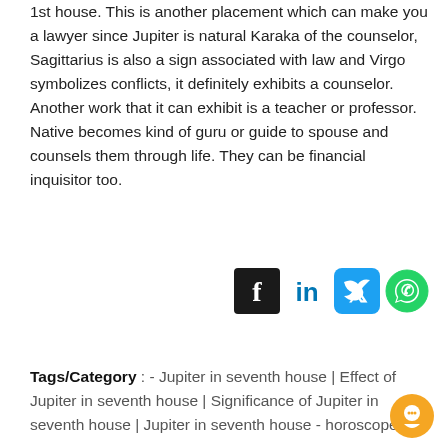1st house. This is another placement which can make you a lawyer since Jupiter is natural Karaka of the counselor, Sagittarius is also a sign associated with law and Virgo symbolizes conflicts, it definitely exhibits a counselor. Another work that it can exhibit is a teacher or professor. Native becomes kind of guru or guide to spouse and counsels them through life. They can be financial inquisitor too.
[Figure (illustration): Social media share icons: Facebook, LinkedIn, Twitter, WhatsApp]
Tags/Category : - Jupiter in seventh house | Effect of Jupiter in seventh house | Significance of Jupiter in seventh house | Jupiter in seventh house - horoscope